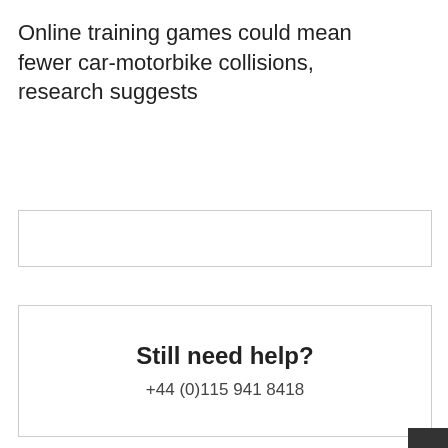Online training games could mean fewer car-motorbike collisions, research suggests
Still need help?
+44 (0)115 941 8418